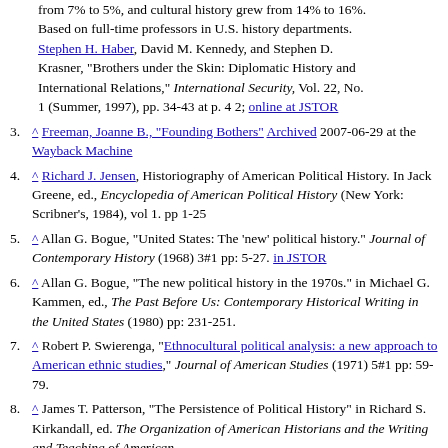(continuation) dropped from 7% to 5%, and cultural history grew from 14% to 16%. Based on full-time professors in U.S. history departments. Stephen H. Haber, David M. Kennedy, and Stephen D. Krasner, "Brothers under the Skin: Diplomatic History and International Relations," International Security, Vol. 22, No. 1 (Summer, 1997), pp. 34-43 at p. 4 2; online at JSTOR
3. ^ Freeman, Joanne B., "Founding Bothers" Archived 2007-06-29 at the Wayback Machine
4. ^ Richard J. Jensen, Historiography of American Political History. In Jack Greene, ed., Encyclopedia of American Political History (New York: Scribner's, 1984), vol 1. pp 1-25
5. ^ Allan G. Bogue, "United States: The 'new' political history." Journal of Contemporary History (1968) 3#1 pp: 5-27. in JSTOR
6. ^ Allan G. Bogue, "The new political history in the 1970s." in Michael G. Kammen, ed., The Past Before Us: Contemporary Historical Writing in the United States (1980) pp: 231-251.
7. ^ Robert P. Swierenga, "Ethnocultural political analysis: a new approach to American ethnic studies," Journal of American Studies (1971) 5#1 pp: 59-79.
8. ^ James T. Patterson, "The Persistence of Political History" in Richard S. Kirkandall, ed. The Organization of American Historians and the Writing and Teaching of American